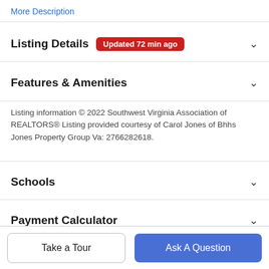More Description
Listing Details
Features & Amenities
Listing information © 2022 Southwest Virginia Association of REALTORS® Listing provided courtesy of Carol Jones of Bhhs Jones Property Group Va: 2766282618.
Schools
Payment Calculator
Contact Agent
Take a Tour
Ask A Question